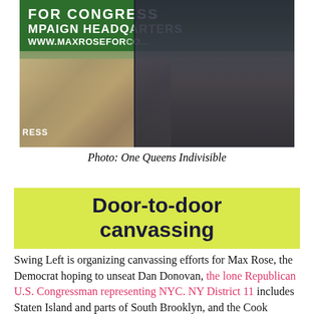[Figure (photo): Group of people standing in front of a Max Rose for Congress Campaign Headquarters banner with the website www.maxroseforcongress.com visible. Several young people posing together outside.]
Photo: One Queens Indivisible
Door-to-door canvassing
Swing Left is organizing canvassing efforts for Max Rose, the Democrat hoping to unseat Dan Donovan, the lone Republican U.S. Congressman representing NYC. NY District 11 includes Staten Island and parts of South Brooklyn, and the Cook Report rates this as a "Likely Republican" race. You can sign up to knock on doors Oct.